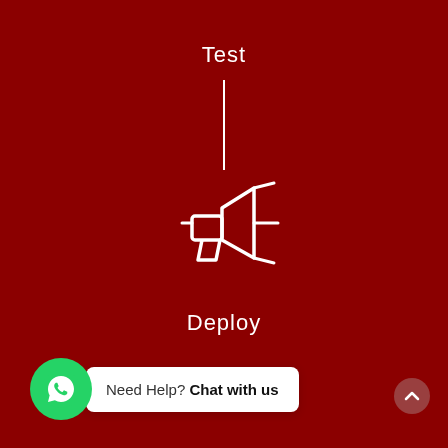Test
[Figure (illustration): Vertical connector line between Test and Deploy steps in a flowchart]
[Figure (illustration): White megaphone/loudspeaker icon on dark red background]
Deploy
[Figure (illustration): WhatsApp chat widget with green circle icon and white bubble saying 'Need Help? Chat with us']
[Figure (illustration): Scroll-to-top button with upward chevron arrow in bottom right corner]